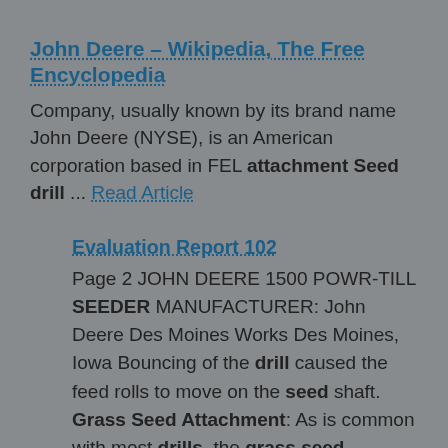John Deere – Wikipedia, The Free Encyclopedia
Company, usually known by its brand name John Deere (NYSE), is an American corporation based in FEL attachment Seed drill ... Read Article
Evaluation Report 102
Page 2 JOHN DEERE 1500 POWR-TILL SEEDER MANUFACTURER: John Deere Des Moines Works Des Moines, Iowa Bouncing of the drill caused the feed rolls to move on the seed shaft. Grass Seed Attachment: As is common with most drills, the grass seed attachment is designed only